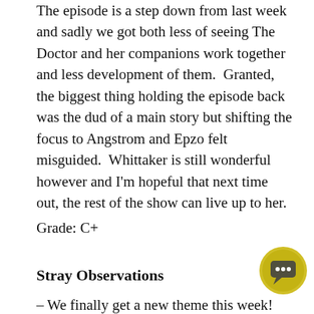The episode is a step down from last week and sadly we got both less of seeing The Doctor and her companions work together and less development of them.  Granted, the biggest thing holding the episode back was the dud of a main story but shifting the focus to Angstrom and Epzo felt misguided.  Whittaker is still wonderful however and I'm hopeful that next time out, the rest of the show can live up to her.
Grade: C+
Stray Observations
– We finally get a new theme this week!  And it is decidedly shorter and more purple as well halting and distorted.  There's something about it that feels more reminiscent to the classic era, but I do wish it were a bit better.